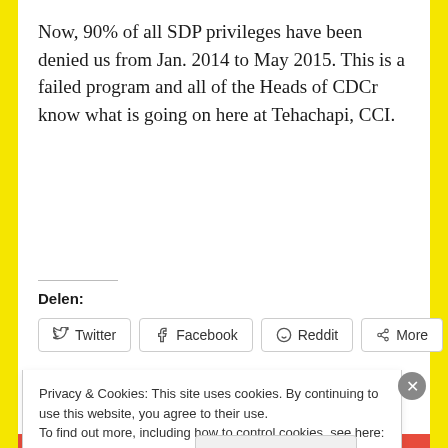Now, 90% of all SDP privileges have been denied us from Jan. 2014 to May 2015. This is a failed program and all of the Heads of CDCr know what is going on here at Tehachapi, CCI.
Delen:
Twitter | Facebook | Reddit | More
Like
Privacy & Cookies: This site uses cookies. By continuing to use this website, you agree to their use.
To find out more, including how to control cookies, see here: Cookie Policy
Close and accept